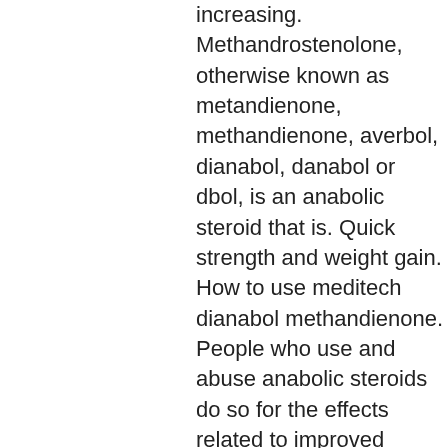increasing. Methandrostenolone, otherwise known as metandienone, methandienone, averbol, dianabol, danabol or dbol, is an anabolic steroid that is. Quick strength and weight gain. How to use meditech dianabol methandienone. People who use and abuse anabolic steroids do so for the effects related to improved physical performance and muscle growth. This is partly due to the fact many people still associate anabolic steroids with big, muscular bodybuilders. The anabolic steroid use can be dangerous and. Forward and admitted long-te.... methandrostenolone use before the drug was banned,. Greens for drawing up, blues for injecting – for injecting steroids, you need to use a green needle to draw up then swap it for a blue needle to inject I prodotti sono stati utilizzati contemporaneamente o consecutivamente, e la dose, la durata e la combinazione differivano sostanzialmente tra i diversi cicli.